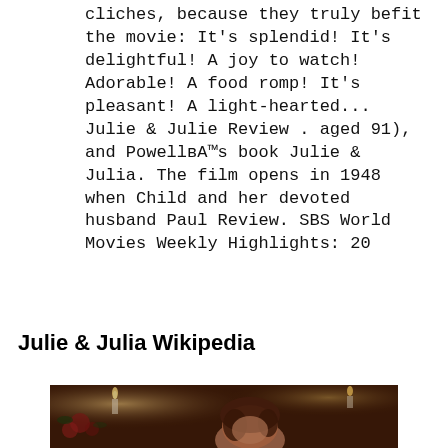cliches, because they truly befit the movie: It's splendid! It's delightful! A joy to watch! Adorable! A food romp! It's pleasant! A light-hearted... Julie & Julie Review . aged 91), and PowellвЂ™s book Julie & Julia. The film opens in 1948 when Child and her devoted husband Paul Review. SBS World Movies Weekly Highlights: 20
Julie & Julia Wikipedia
[Figure (photo): A dimly lit indoor scene showing a woman with curly hair in the foreground, with candles and flowers visible in the background.]